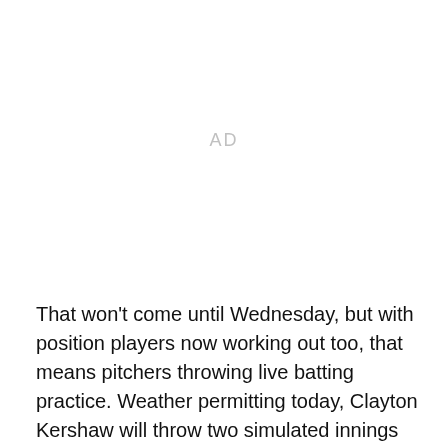AD
That won't come until Wednesday, but with position players now working out too, that means pitchers throwing live batting practice. Weather permitting today, Clayton Kershaw will throw two simulated innings of live batting practice a bit later, with Yasmani Grandal catching and Jimmy Rollins, Howie Kendrick and Darwin Barney at the plate.